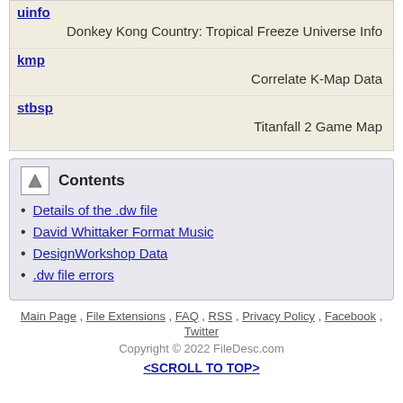| uinfo | Donkey Kong Country: Tropical Freeze Universe Info |
| kmp | Correlate K-Map Data |
| stbsp | Titanfall 2 Game Map |
Contents
Details of the .dw file
David Whittaker Format Music
DesignWorkshop Data
.dw file errors
Main Page, File Extensions, FAQ, RSS, Privacy Policy, Facebook, Twitter
Copyright © 2022 FileDesc.com
<SCROLL TO TOP>